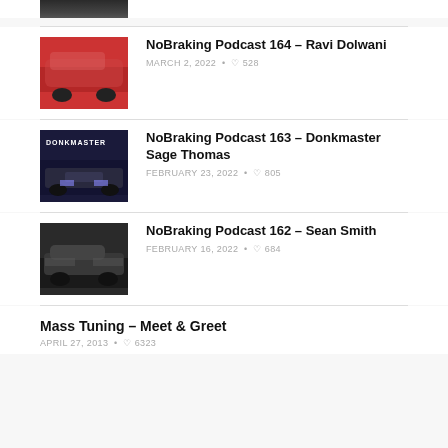[Figure (photo): Partial thumbnail of a dark car at the top of the page]
NoBraking Podcast 164 – Ravi Dolwani
MARCH 2, 2022 • ♡528
NoBraking Podcast 163 – Donkmaster Sage Thomas
FEBRUARY 23, 2022 • ♡805
NoBraking Podcast 162 – Sean Smith
FEBRUARY 16, 2022 • ♡684
Mass Tuning – Meet & Greet
APRIL 27, 2013 • ♡6323